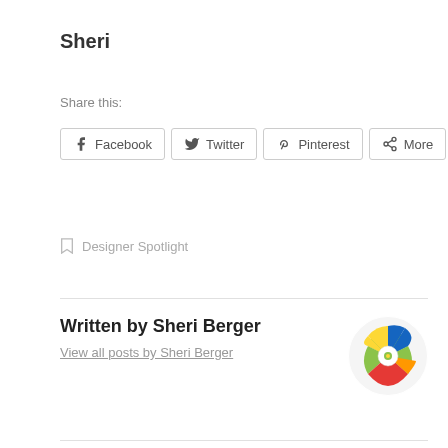Sheri
Share this:
Facebook  Twitter  Pinterest  More
Designer Spotlight
Written by Sheri Berger
View all posts by Sheri Berger
[Figure (illustration): Circular quilt pattern avatar with colorful star/flower design in green, red, yellow, blue on white background]